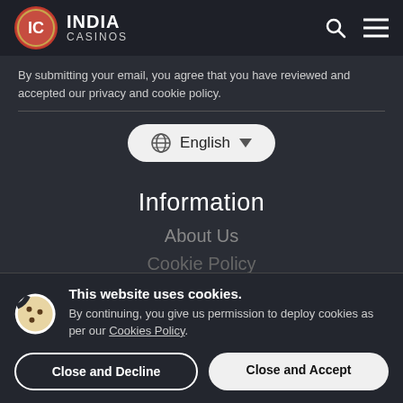INDIA CASINOS
By submitting your email, you agree that you have reviewed and accepted our privacy and cookie policy.
[Figure (other): Language selector dropdown button showing globe icon and 'English' text with dropdown arrow]
Information
About Us
Cookie Policy
This website uses cookies. By continuing, you give us permission to deploy cookies as per our Cookies Policy.
Close and Decline
Close and Accept